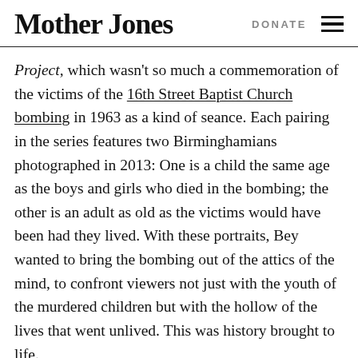Mother Jones  DONATE
Project, which wasn't so much a commemoration of the victims of the 16th Street Baptist Church bombing in 1963 as a kind of seance. Each pairing in the series features two Birminghamians photographed in 2013: One is a child the same age as the boys and girls who died in the bombing; the other is an adult as old as the victims would have been had they lived. With these portraits, Bey wanted to bring the bombing out of the attics of the mind, to confront viewers not just with the youth of the murdered children but with the hollow of the lives that went unlived. This was history brought to life.